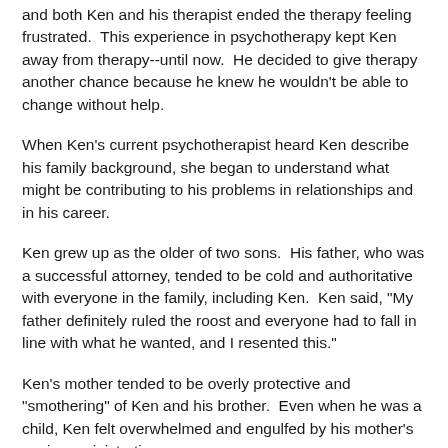and both Ken and his therapist ended the therapy feeling frustrated.  This experience in psychotherapy kept Ken away from therapy--until now.  He decided to give therapy another chance because he knew he wouldn't be able to change without help.
When Ken's current psychotherapist heard Ken describe his family background, she began to understand what might be contributing to his problems in relationships and in his career.
Ken grew up as the older of two sons.  His father, who was a successful attorney, tended to be cold and authoritative with everyone in the family, including Ken.  Ken said, "My father definitely ruled the roost and everyone had to fall in line with what he wanted, and I resented this."
Ken's mother tended to be overly protective and "smothering" of Ken and his brother.  Even when he was a child, Ken felt overwhelmed and engulfed by his mother's anxious ministrations.